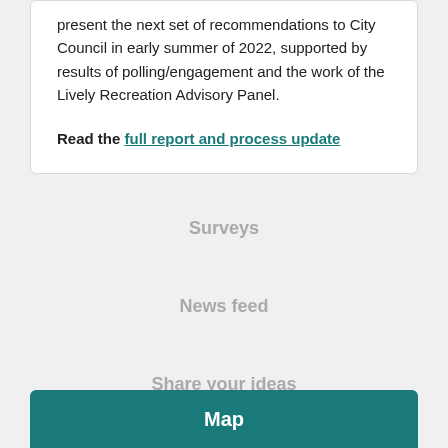present the next set of recommendations to City Council in early summer of 2022, supported by results of polling/engagement and the work of the Lively Recreation Advisory Panel.
Read the full report and process update
Surveys
News feed
Share your ideas
Map